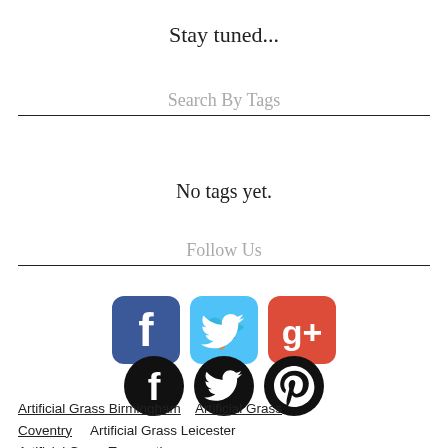Stay tuned...
Search By Tags
No tags yet.
Follow Us
[Figure (infographic): Social media icons: Facebook (rounded square, blue), Twitter (rounded square, cyan), Google+ (rounded square, red-orange); and below: Facebook (circle, black), Twitter (circle, black), Pinterest (circle, black)]
Artificial Grass Birmingham
Artificial Grass Coventry
Artificial Grass Leicester
Artificial Grass Tamworth
Artificial Grass Nuneaton
Artificial Grass